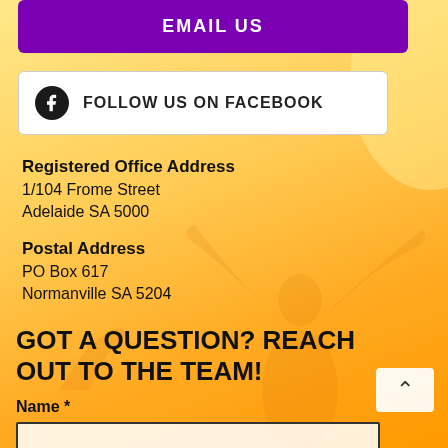EMAIL US
FOLLOW US ON FACEBOOK
Registered Office Address
1/104 Frome Street
Adelaide SA 5000
Postal Address
PO Box 617
Normanville SA 5204
GOT A QUESTION? REACH OUT TO THE TEAM!
Name *